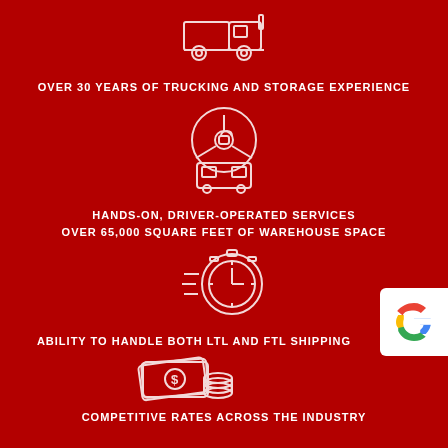[Figure (illustration): White outline icon of a truck on dark red background]
OVER 30 YEARS OF TRUCKING AND STORAGE EXPERIENCE
[Figure (illustration): White outline icon of a steering wheel with a truck cab behind it]
HANDS-ON, DRIVER-OPERATED SERVICES
OVER 65,000 SQUARE FEET OF WAREHOUSE SPACE
[Figure (illustration): White outline icon of a stopwatch with speed lines]
ABILITY TO HANDLE BOTH LTL AND FTL SHIPPING
[Figure (illustration): White outline icon of money bills and coins]
COMPETITIVE RATES ACROSS THE INDUSTRY
[Figure (logo): Google logo badge in bottom right corner]